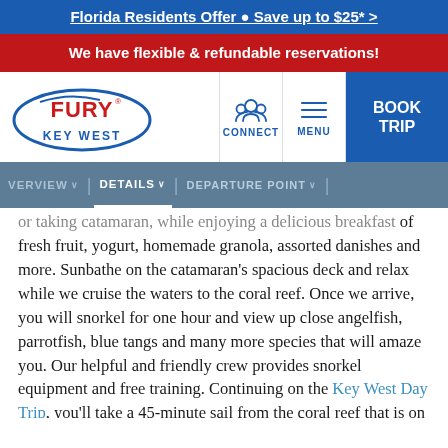Florida Residents Offer • Save up to $25* >
We have flexible & refundable reservations!
[Figure (logo): Fury Key West logo — oval with FURY text in red and KEY WEST in blue below]
CONNECT | DETAILS | DEPARTURE POINT
of fresh fruit, yogurt, homemade granola, assorted danishes and more. Sunbathe on the catamaran's spacious deck and relax while we cruise the waters to the coral reef. Once we arrive, you will snorkel for one hour and view up close angelfish, parrotfish, blue tangs and many more species that will amaze you. Our helpful and friendly crew provides snorkel equipment and free training. Continuing on the Key West Day Trip, you'll take a 45-minute sail from the coral reef that is on the Atlantic side of Key West to the Gulf of Mexico and enjoy an all-you-